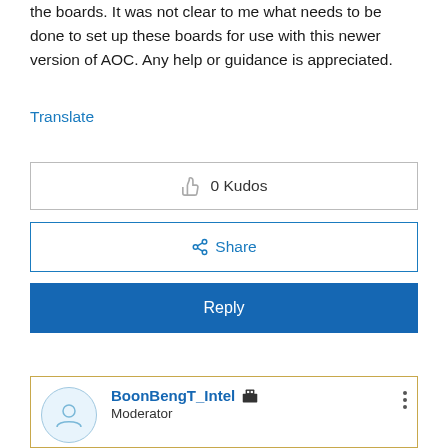the boards. It was not clear to me what needs to be done to set up these boards for use with this newer version of AOC. Any help or guidance is appreciated.
Translate
[Figure (other): 0 Kudos button with thumbs up icon inside a bordered box]
[Figure (other): Share button with share icon inside a blue-bordered box]
[Figure (other): Reply button with white text on blue background]
[Figure (other): User comment card with avatar, username BoonBengT_Intel with moderator badge, and three-dot menu. Role listed as Moderator.]